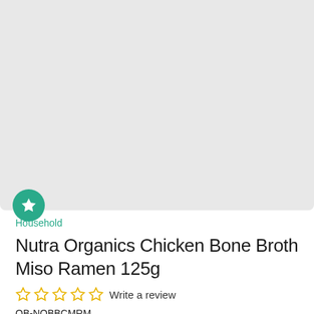[Figure (photo): Product image placeholder area with light grey background and a teal circular badge with a white star icon in the lower-left corner]
Household
Nutra Organics Chicken Bone Broth Miso Ramen 125g
☆ ☆ ☆ ☆ ☆ Write a review
OB-NOBBCMRM